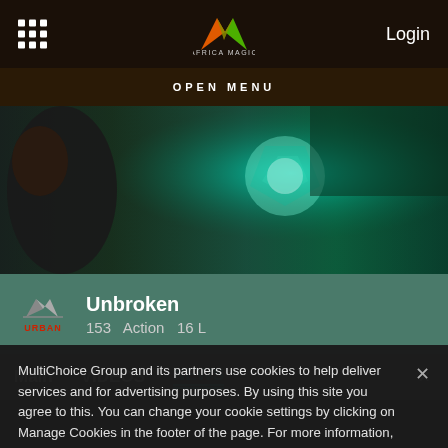[Figure (screenshot): Africa Magic website navigation bar with grid icon, Africa Magic logo (orange and green M), and Login text on dark brown background]
OPEN MENU
[Figure (photo): Hero image showing a man's profile on the left and a sci-fi/action scene with teal/green glowing armor or machinery on the right]
[Figure (logo): Africa Magic Urban channel logo - small mountain-like icon with URBAN text in red below]
Unbroken
153   Action   16 L
Main   VIDEOS   NEWS
MultiChoice Group and its partners use cookies to help deliver services and for advertising purposes. By using this site you agree to this. You can change your cookie settings by clicking on Manage Cookies in the footer of the page. For more information, see our Privacy Policy